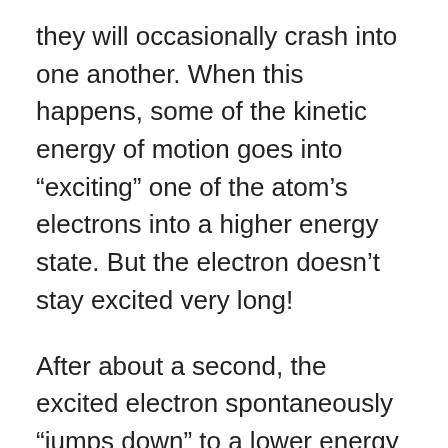they will occasionally crash into one another. When this happens, some of the kinetic energy of motion goes into “exciting” one of the atom’s electrons into a higher energy state. But the electron doesn’t stay excited very long!
After about a second, the excited electron spontaneously “jumps down” to a lower energy level, simultaneously emitting a photon of energy (i.e., light) in the process. Subsequently, this photon escapes from the star-forming region, robbing it of the original energy pumped in by the hot young star and